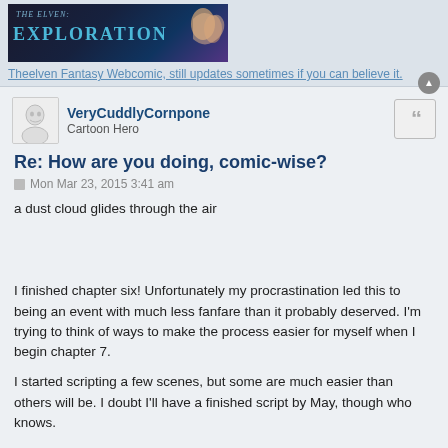[Figure (illustration): The Elven Exploration fantasy webcomic banner image with stylized text and character art]
Theelven Fantasy Webcomic, still updates sometimes if you can believe it.
VeryCuddlyCornpone
Cartoon Hero
Re: How are you doing, comic-wise?
Mon Mar 23, 2015 3:41 am
a dust cloud glides through the air
I finished chapter six! Unfortunately my procrastination led this to being an event with much less fanfare than it probably deserved. I'm trying to think of ways to make the process easier for myself when I begin chapter 7.
I started scripting a few scenes, but some are much easier than others will be. I doubt I'll have a finished script by May, though who knows.
I also have to do a lot more research this time around, so will probably need to start plunging into that very soon.